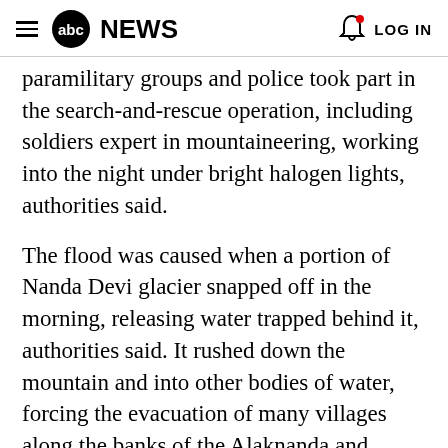abc NEWS  LOG IN
paramilitary groups and police took part in the search-and-rescue operation, including soldiers expert in mountaineering, working into the night under bright halogen lights, authorities said.
The flood was caused when a portion of Nanda Devi glacier snapped off in the morning, releasing water trapped behind it, authorities said. It rushed down the mountain and into other bodies of water, forcing the evacuation of many villages along the banks of the Alaknanda and Dhauliganga rivers.